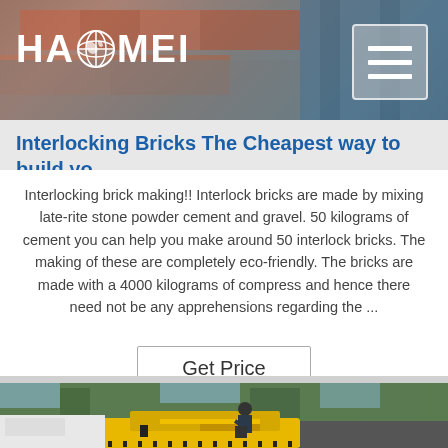[Figure (photo): Website header banner showing industrial pipes and equipment with dark overlay background]
[Figure (logo): HAOMEI logo in white bold text with globe icon between HA and MEI, on header banner]
Interlocking Bricks The Cheapest way to build yo...
Interlocking brick making!! Interlock bricks are made by mixing late-rite stone powder cement and gravel. 50 kilograms of cement you can help you make around 50 interlock bricks. The making of these are completely eco-friendly. The bricks are made with a 4000 kilograms of compress and hence there need not be any apprehensions regarding the ...
Get Price
[Figure (photo): Worker bending over yellow construction machinery (appears to be a brick-making machine or similar equipment) outdoors with trees in the background]